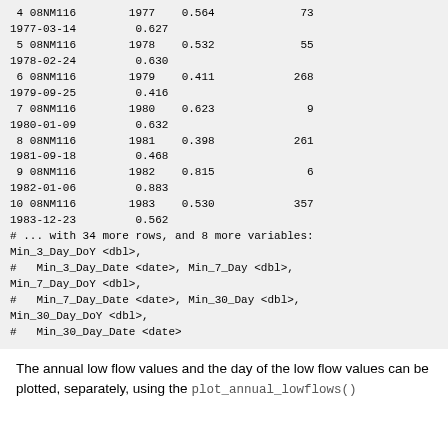4 08NM116   1977   0.564    73
1977-03-14   0.627
 5 08NM116   1978   0.532    55
1978-02-24   0.630
 6 08NM116   1979   0.411   268
1979-09-25   0.416
 7 08NM116   1980   0.623     9
1980-01-09   0.632
 8 08NM116   1981   0.398   261
1981-09-18   0.468
 9 08NM116   1982   0.815     6
1982-01-06   0.883
10 08NM116   1983   0.530   357
1983-12-23   0.562
# ... with 34 more rows, and 8 more variables:
Min_3_Day_DoY <dbl>,
#   Min_3_Day_Date <date>, Min_7_Day <dbl>,
Min_7_Day_DoY <dbl>,
#   Min_7_Day_Date <date>, Min_30_Day <dbl>,
Min_30_Day_DoY <dbl>,
#   Min_30_Day_Date <date>
The annual low flow values and the day of the low flow values can be plotted, separately, using the plot_annual_lowflows()